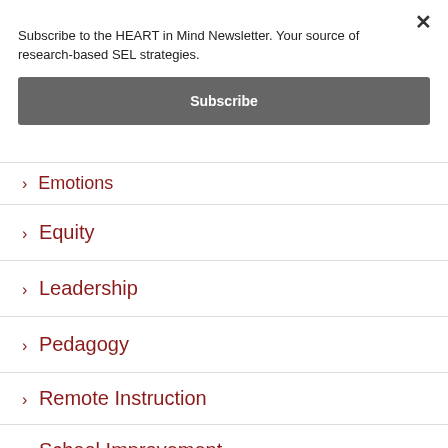Subscribe to the HEART in Mind Newsletter. Your source of research-based SEL strategies.
Subscribe
> Emotions
> Equity
> Leadership
> Pedagogy
> Remote Instruction
> School Improvement
> SEL